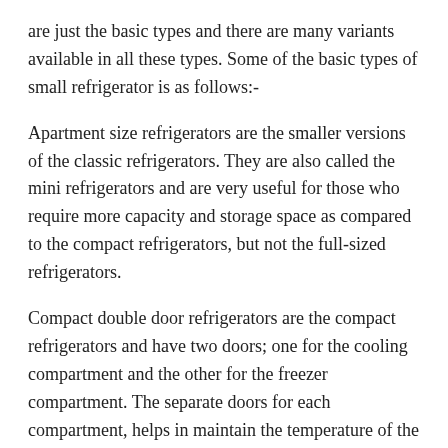are just the basic types and there are many variants available in all these types. Some of the basic types of small refrigerator is as follows:-
Apartment size refrigerators are the smaller versions of the classic refrigerators. They are also called the mini refrigerators and are very useful for those who require more capacity and storage space as compared to the compact refrigerators, but not the full-sized refrigerators.
Compact double door refrigerators are the compact refrigerators and have two doors; one for the cooling compartment and the other for the freezer compartment. The separate doors for each compartment, helps in maintain the temperature of the freezer in a much better way, as you need to open the freezer only when you need to use, not otherwise.